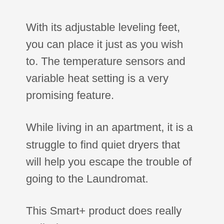With its adjustable leveling feet, you can place it just as you wish to. The temperature sensors and variable heat setting is a very promising feature.
While living in an apartment, it is a struggle to find quiet dryers that will help you escape the trouble of going to the Laundromat.
This Smart+ product does really well when it comes to functioning silently.